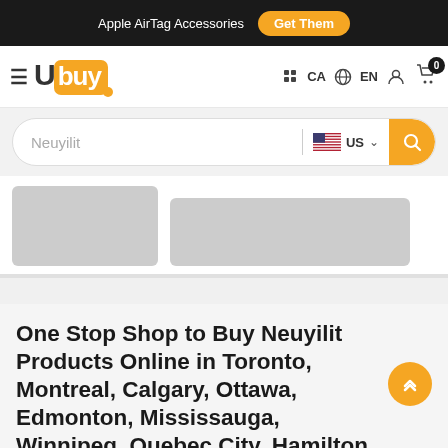Apple AirTag Accessories  Get Them
[Figure (logo): Ubuy logo with orange background on 'buy' portion]
CA  EN  [user icon]  [cart icon] 0
Neuyilit  US [search button]
[Figure (other): Two gray loading placeholder boxes for product listings]
One Stop Shop to Buy Neuyilit Products Online in Toronto, Montreal, Calgary, Ottawa, Edmonton, Mississauga, Winnipeg, Quebec City, Hamilton & All Major Cities
If you are looking for all the best in terms of quality...